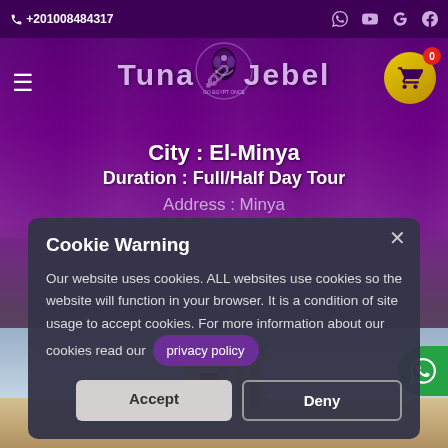☎ +201008484317
Tuna el Jebel
City : El-Minya
Duration : Full/Half Day Tour
Address : Minya
[Figure (screenshot): Cookie warning dialog box overlaid on a travel website. Contains title 'Cookie Warning', body text about cookie usage, a privacy policy link button, and Accept/Deny buttons.]
Cookie Warning
Our website uses cookies. ALL websites use cookies so the website will function in your browser. It is a condition of site usage to accept cookies. For more information about our cookies read our privacy policy
Accept
Deny